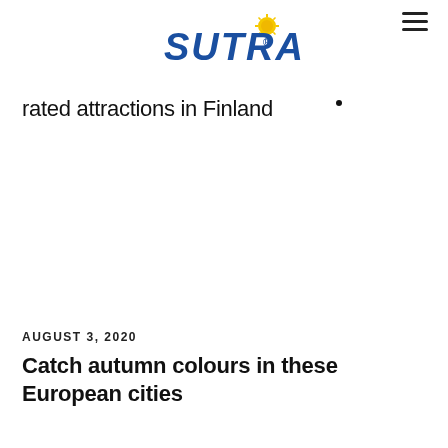[Figure (logo): SUTRA logo in bold italic blue text with a yellow sun/star graphic to the upper right and a registered trademark symbol]
rated attractions in Finland
AUGUST 3, 2020
Catch autumn colours in these European cities